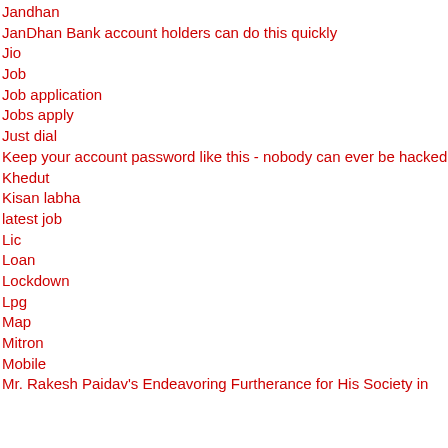Jandhan
JanDhan Bank account holders can do this quickly
Jio
Job
Job application
Jobs apply
Just dial
Keep your account password like this - nobody can ever be hacked
Khedut
Kisan labha
latest job
Lic
Loan
Lockdown
Lpg
Map
Mitron
Mobile
Mr. Rakesh Paidav's Endeavoring Furtherance for His Society in